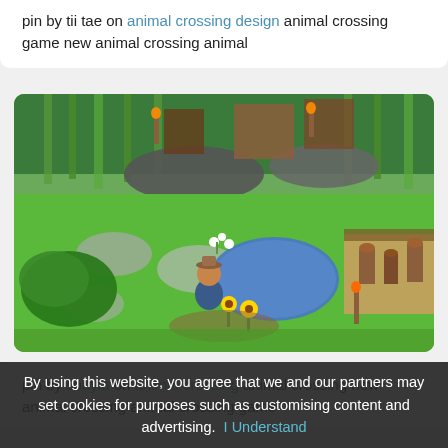pin by tii tae on animal crossing design animal crossing game new animal crossing animal
[Figure (screenshot): Animal Crossing: New Horizons gameplay screenshot showing a player character in a hat standing near a pond, surrounded by bamboo trees, stone paths, flowers (white daisies, yellow sunflowers), torches, and wooden logs in a lush green landscape.]
pin by shayla on animal crossing animal crossing new animal crossing animal crossing game
By using this website, you agree that we and our partners may set cookies for purposes such as customising content and advertising. I Understand